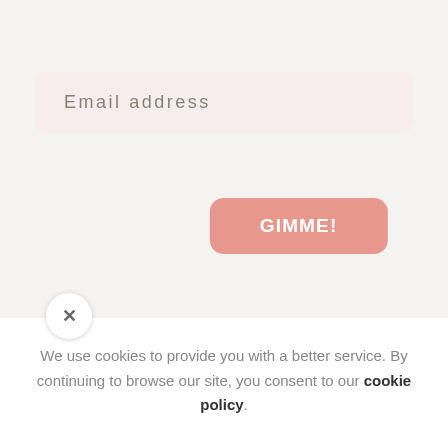Email address
GIMME!
[Figure (illustration): Cartoon cactus illustrations with red flowers on a light background]
We use cookies to provide you with a better service. By continuing to browse our site, you consent to our cookie policy.